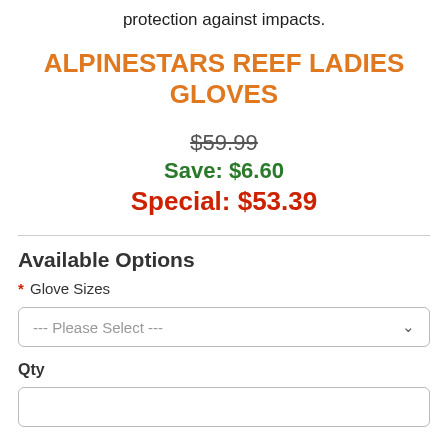protection against impacts.
ALPINESTARS REEF LADIES GLOVES
$59.99
Save: $6.60
Special: $53.39
Available Options
* Glove Sizes
--- Please Select ---
Qty